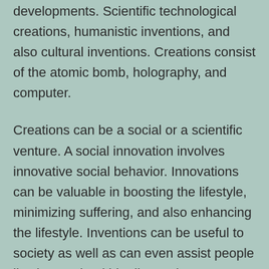developments. Scientific technological creations, humanistic inventions, and also cultural inventions. Creations consist of the atomic bomb, holography, and computer.
Creations can be a social or a scientific venture. A social innovation involves innovative social behavior. Innovations can be valuable in boosting the lifestyle, minimizing suffering, and also enhancing the lifestyle. Inventions can be useful to society as well as can even assist people live longer, healthier lives. They can enhance the means they find out, function, and also play. Understanding the worth of